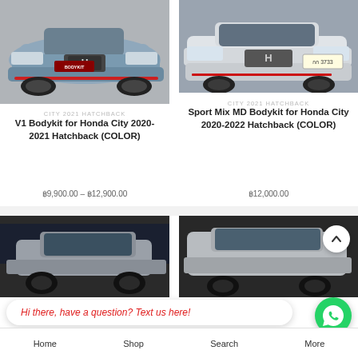[Figure (photo): Front view of Honda City 2021 Hatchback with blue/grey color and V1 bodykit with red accent on bumper]
CITY 2021 HATCHBACK
V1 Bodykit for Honda City 2020-2021 Hatchback (COLOR)
฿9,900.00 – ฿12,900.00
[Figure (photo): Front view of white Honda City 2021 Hatchback with license plate กก 3733 and Sport Mix MD bodykit]
CITY 2021 HATCHBACK
Sport Mix MD Bodykit for Honda City 2020-2022 Hatchback (COLOR)
฿12,000.00
[Figure (photo): Silver/grey car side/front view in dark background - bottom left product]
[Figure (photo): White/silver Honda City side view in dark background - bottom right product]
Hi there, have a question? Text us here!
Home   Shop   Search   More